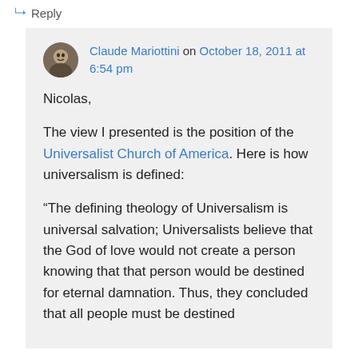↵ Reply
Claude Mariottini on October 18, 2011 at 6:54 pm
Nicolas,
The view I presented is the position of the Universalist Church of America. Here is how universalism is defined:
“The defining theology of Universalism is universal salvation; Universalists believe that the God of love would not create a person knowing that that person would be destined for eternal damnation. Thus, they concluded that all people must be destined